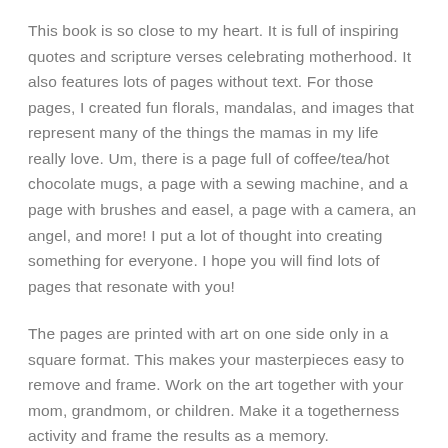This book is so close to my heart. It is full of inspiring quotes and scripture verses celebrating motherhood. It also features lots of pages without text. For those pages, I created fun florals, mandalas, and images that represent many of the things the mamas in my life really love. Um, there is a page full of coffee/tea/hot chocolate mugs, a page with a sewing machine, and a page with brushes and easel, a page with a camera, an angel, and more! I put a lot of thought into creating something for everyone. I hope you will find lots of pages that resonate with you!
The pages are printed with art on one side only in a square format. This makes your masterpieces easy to remove and frame. Work on the art together with your mom, grandmom, or children. Make it a togetherness activity and frame the results as a memory.